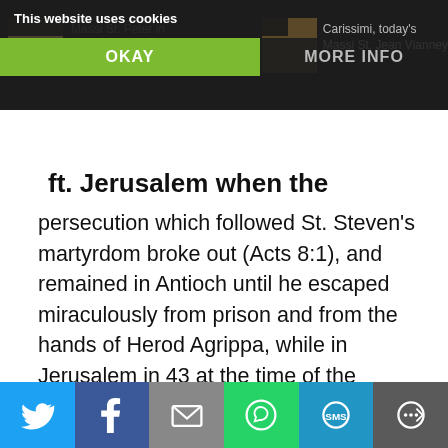[Figure (screenshot): Dark navigation header bar with thumbnail images and text for 'Massi St. Peter in' and 'Carissimi, today's Massi St. Jean Vianney']
This website uses cookies
OKAY
MORE INFO
ft. Jerusalem when the
persecution which followed St. Steven's martyrdom broke out (Acts 8:1), and remained in Antioch until he escaped miraculously from prison and from the hands of Herod Agrippa, while in Jerusalem in 43 at the time of the Passover. (Acts 12) Knowing he would be pursued to Antioch, his well-known center of activity, he went to Rome.
Privacy & Cookies: This site uses cookies. By continuing to use this website, you agree to their use.
To find out more, including how to control cookies, see here: Cookie Policy
[Figure (infographic): Social sharing bar with Twitter, Facebook, Email, WhatsApp, SMS, and More buttons]